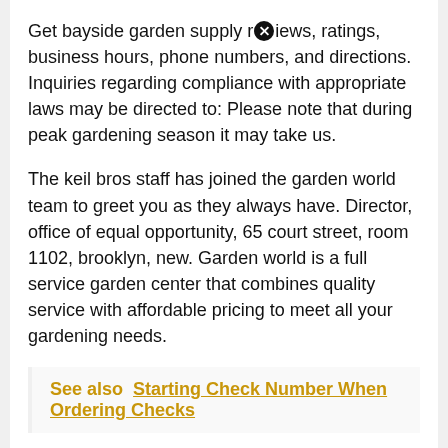Get bayside garden supply reviews, ratings, business hours, phone numbers, and directions. Inquiries regarding compliance with appropriate laws may be directed to: Please note that during peak gardening season it may take us.
The keil bros staff has joined the garden world team to greet you as they always have. Director, office of equal opportunity, 65 court street, room 1102, brooklyn, new. Garden world is a full service garden center that combines quality service with affordable pricing to meet all your gardening needs.
See also  Starting Check Number When Ordering Checks
Bayside.where all your dreams come true. With comprehensive contact information, including cell phone numbers, for over 275 million people nationwide, and whitepages smartcheck the fast, comprehensive